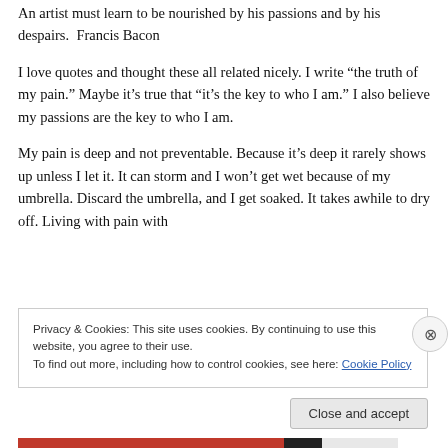An artist must learn to be nourished by his passions and by his despairs.  Francis Bacon
I love quotes and thought these all related nicely. I write “the truth of my pain.” Maybe it’s true that “it’s the key to who I am.” I also believe my passions are the key to who I am.
My pain is deep and not preventable. Because it’s deep it rarely shows up unless I let it. It can storm and I won’t get wet because of my umbrella. Discard the umbrella, and I get soaked. It takes awhile to dry off. Living with pain with
Privacy & Cookies: This site uses cookies. By continuing to use this website, you agree to their use.
To find out more, including how to control cookies, see here: Cookie Policy